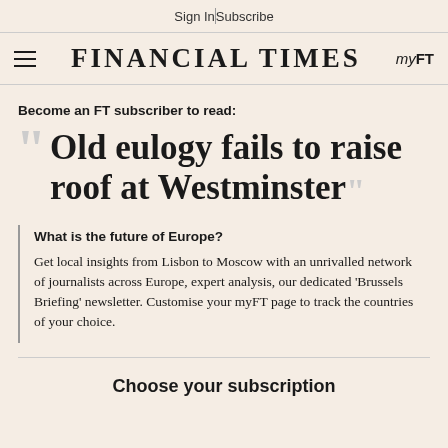Sign In | Subscribe
FINANCIAL TIMES myFT
Become an FT subscriber to read:
Old eulogy fails to raise roof at Westminster
What is the future of Europe?
Get local insights from Lisbon to Moscow with an unrivalled network of journalists across Europe, expert analysis, our dedicated 'Brussels Briefing' newsletter. Customise your myFT page to track the countries of your choice.
Choose your subscription